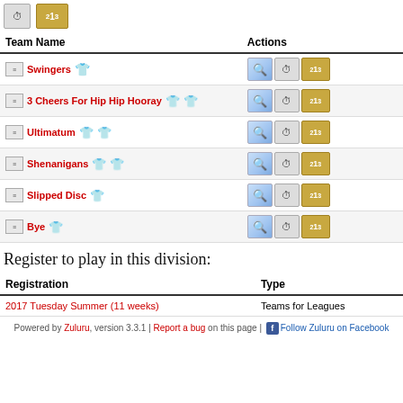[Figure (screenshot): Top icons: clock icon and podium/ranking icon]
| Team Name | Actions |
| --- | --- |
| Swingers [shirt icons] | [search][clock][podium] |
| 3 Cheers For Hip Hip Hooray [shirt icons] | [search][clock][podium] |
| Ultimatum [shirt icons] | [search][clock][podium] |
| Shenanigans [shirt icons] | [search][clock][podium] |
| Slipped Disc [shirt icons] | [search][clock][podium] |
| Bye [shirt icon] | [search][clock][podium] |
Register to play in this division:
| Registration | Type |
| --- | --- |
| 2017 Tuesday Summer (11 weeks) | Teams for Leagues |
Powered by Zuluru, version 3.3.1 | Report a bug on this page | Follow Zuluru on Facebook